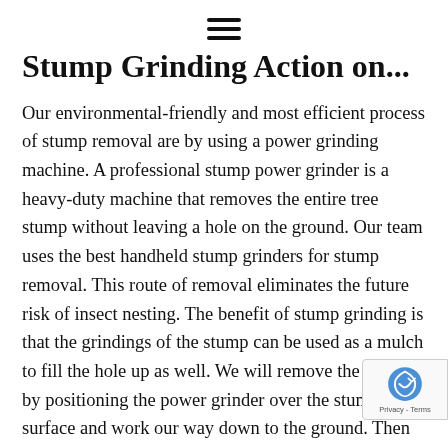≡ (hamburger menu icon)
Stump Grinding Action on...
Our environmental-friendly and most efficient process of stump removal are by using a power grinding machine. A professional stump power grinder is a heavy-duty machine that removes the entire tree stump without leaving a hole on the ground. Our team uses the best handheld stump grinders for stump removal. This route of removal eliminates the future risk of insect nesting. The benefit of stump grinding is that the grindings of the stump can be used as a mulch to fill the hole up as well. We will remove the stump by positioning the power grinder over the stump's surface and work our way down to the ground. Then we'll grind around the area to remove the roots as well. We will then shovel the d with the stump's mulch to fill up the hole, then cover up